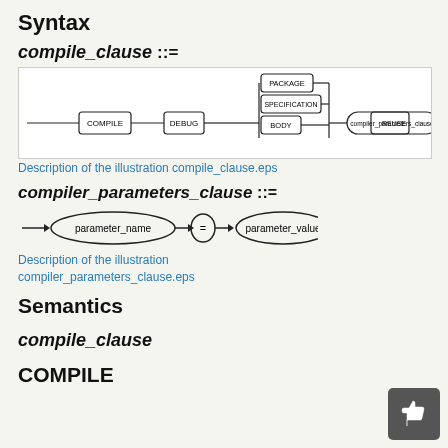Syntax
[Figure (engineering-diagram): Railroad syntax diagram for compile_clause showing COMPILE node with optional DEBUG branch, then PACKAGE/SPECIFICATION/BODY choice, then compiler_parameters_clause, then REUSE and SETTINGS nodes]
Description of the illustration compile_clause.eps
[Figure (engineering-diagram): Railroad syntax diagram for compiler_parameters_clause showing arrow to parameter_name node, then = node, then parameter_value node, then arrow]
Description of the illustration compiler_parameters_clause.eps
Semantics
compile_clause
COMPILE